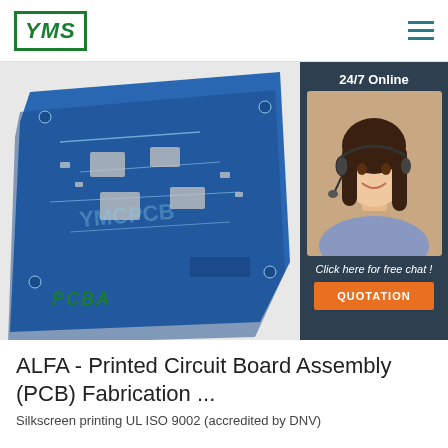YMS logo and navigation menu
[Figure (photo): Blue printed circuit board (PCB) with components, displayed at an angle on a light grey background. Watermark text 'YMCPCB' visible on the board. Label 'PCBA' in green italic bold text at lower left.]
[Figure (infographic): Chat widget overlay on right side: dark navy background with '24/7 Online' text, photo of female customer service agent with headset, text 'Click here for free chat!', and orange 'QUOTATION' button.]
ALFA - Printed Circuit Board Assembly (PCB) Fabrication ...
Silkscreen printing UL ISO 9002 (accredited by DNV)